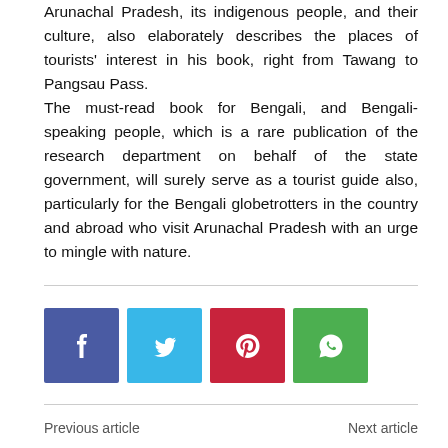Arunachal Pradesh, its indigenous people, and their culture, also elaborately describes the places of tourists' interest in his book, right from Tawang to Pangsau Pass. The must-read book for Bengali, and Bengali-speaking people, which is a rare publication of the research department on behalf of the state government, will surely serve as a tourist guide also, particularly for the Bengali globetrotters in the country and abroad who visit Arunachal Pradesh with an urge to mingle with nature.
[Figure (other): Social sharing buttons: Facebook (blue), Twitter (cyan), Pinterest (red), WhatsApp (green)]
Previous article   Next article